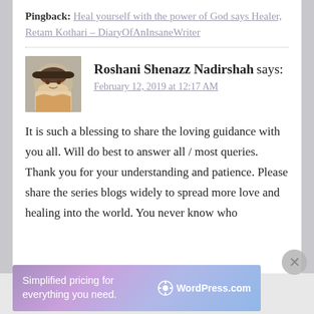Pingback: Heal yourself with the power of God says Healer, Retam Kothari – DiaryOfAnInsaneWriter
[Figure (photo): Avatar photo of commenter Roshani Shenazz Nadirshah — a woman smiling outdoors, wearing a hat]
Roshani Shenazz Nadirshah says: February 12, 2019 at 12:17 AM
It is such a blessing to share the loving guidance with you all. Will do best to answer all / most queries. Thank you for your understanding and patience. Please share the series blogs widely to spread more love and healing into the world. You never know who
Advertisements
[Figure (screenshot): WordPress.com advertisement banner: 'Simplified pricing for everything you need.' with WordPress.com logo]